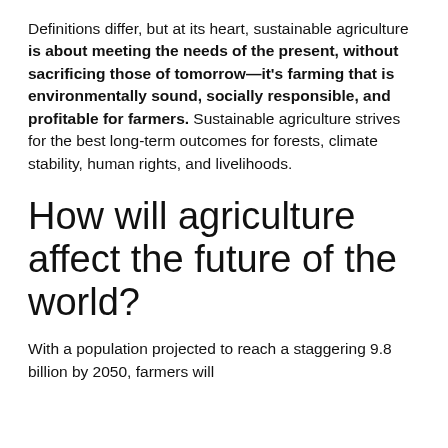Definitions differ, but at its heart, sustainable agriculture is about meeting the needs of the present, without sacrificing those of tomorrow—it's farming that is environmentally sound, socially responsible, and profitable for farmers. Sustainable agriculture strives for the best long-term outcomes for forests, climate stability, human rights, and livelihoods.
How will agriculture affect the future of the world?
With a population projected to reach a staggering 9.8 billion by 2050, farmers will